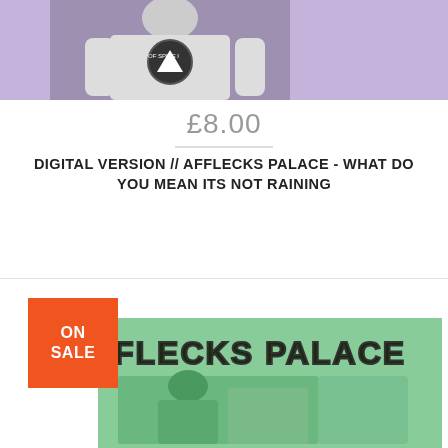[Figure (photo): Grayscale photo of person wearing white long-sleeve shirt with circular logo, on purple/lavender background]
£8.00
DIGITAL VERSION // AFFLECKS PALACE - WHAT DO YOU MEAN ITS NOT RAINING
[Figure (photo): Green-tinted product card with 'ON SALE' orange badge, showing text 'FLECKS PALACE' in bold outlined font with a green-tinted photo below]
ON SALE